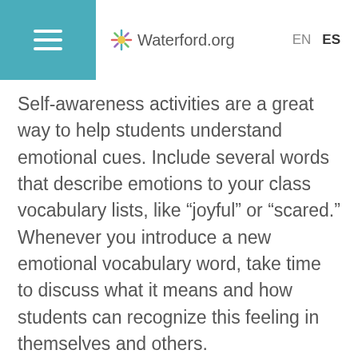Waterford.org  EN  ES
Self-awareness activities are a great way to help students understand emotional cues. Include several words that describe emotions to your class vocabulary lists, like “joyful” or “scared.” Whenever you introduce a new emotional vocabulary word, take time to discuss what it means and how students can recognize this feeling in themselves and others.
For older grades, try complex emotional vocabulary words like “jubilant” or “apprehensive” to broaden their emotional understanding.